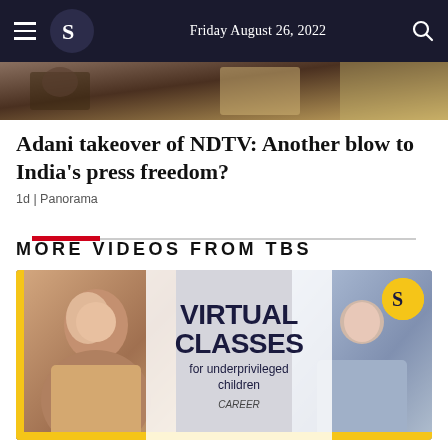Friday August 26, 2022
[Figure (photo): Partial article hero image strip showing people]
Adani takeover of NDTV: Another blow to India's press freedom?
1d | Panorama
MORE VIDEOS FROM TBS
[Figure (photo): Video thumbnail showing two women with text VIRTUAL CLASSES for underprivileged children, Career logo, and TBS badge]